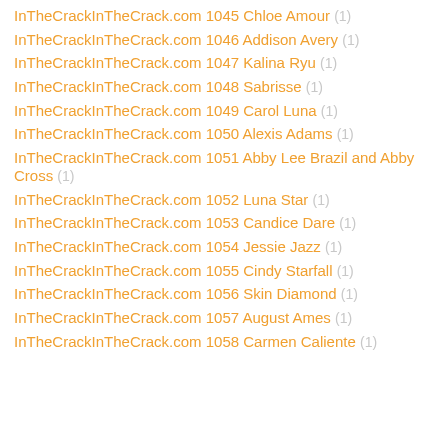InTheCrackInTheCrack.com 1045 Chloe Amour (1)
InTheCrackInTheCrack.com 1046 Addison Avery (1)
InTheCrackInTheCrack.com 1047 Kalina Ryu (1)
InTheCrackInTheCrack.com 1048 Sabrisse (1)
InTheCrackInTheCrack.com 1049 Carol Luna (1)
InTheCrackInTheCrack.com 1050 Alexis Adams (1)
InTheCrackInTheCrack.com 1051 Abby Lee Brazil and Abby Cross (1)
InTheCrackInTheCrack.com 1052 Luna Star (1)
InTheCrackInTheCrack.com 1053 Candice Dare (1)
InTheCrackInTheCrack.com 1054 Jessie Jazz (1)
InTheCrackInTheCrack.com 1055 Cindy Starfall (1)
InTheCrackInTheCrack.com 1056 Skin Diamond (1)
InTheCrackInTheCrack.com 1057 August Ames (1)
InTheCrackInTheCrack.com 1058 Carmen Caliente (1)